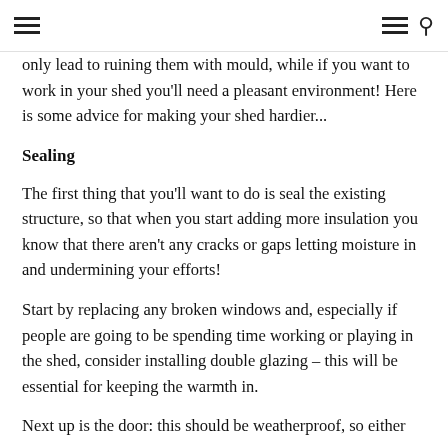[navigation icons: hamburger menu left, hamburger menu right, search icon]
only lead to ruining them with mould, while if you want to work in your shed you'll need a pleasant environment! Here is some advice for making your shed hardier...
Sealing
The first thing that you'll want to do is seal the existing structure, so that when you start adding more insulation you know that there aren't any cracks or gaps letting moisture in and undermining your efforts!
Start by replacing any broken windows and, especially if people are going to be spending time working or playing in the shed, consider installing double glazing – this will be essential for keeping the warmth in.
Next up is the door: this should be weatherproof, so either